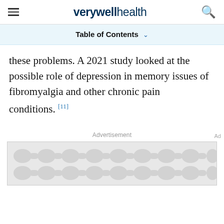verywell health
Table of Contents
these problems. A 2021 study looked at the possible role of depression in memory issues of fibromyalgia and other chronic pain conditions. [11]
Advertisement
[Figure (other): Advertisement placeholder with grey circular pattern background]